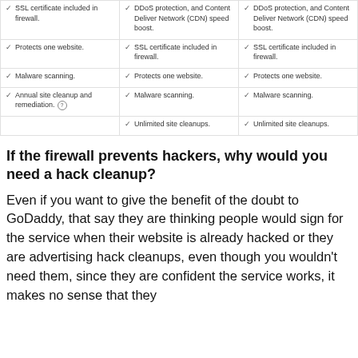| Col1 | Col2 | Col3 |
| --- | --- | --- |
| SSL certificate included in firewall. | DDoS protection, and Content Deliver Network (CDN) speed boost. | DDoS protection, and Content Deliver Network (CDN) speed boost. |
| Protects one website. | SSL certificate included in firewall. | SSL certificate included in firewall. |
| Malware scanning. | Protects one website. | Protects one website. |
| Annual site cleanup and remediation. | Malware scanning. | Malware scanning. |
|  | Unlimited site cleanups. | Unlimited site cleanups. |
If the firewall prevents hackers, why would you need a hack cleanup?
Even if you want to give the benefit of the doubt to GoDaddy, that say they are thinking people would sign for the service when their website is already hacked or they are advertising hack cleanups, even though you wouldn't need them, since they are confident the service works, it makes no sense that they